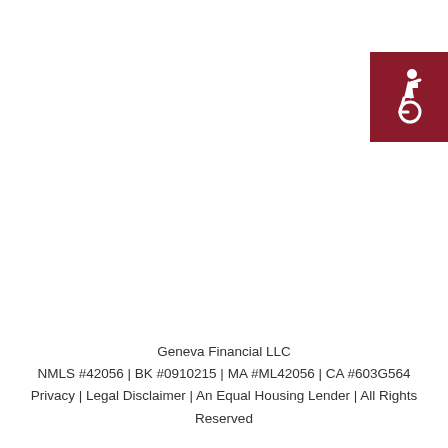[Figure (logo): Accessibility icon — white wheelchair symbol on dark red/maroon square background, positioned top-right corner]
Geneva Financial LLC
NMLS #42056 | BK #0910215 | MA #ML42056 | CA #603G564
Privacy | Legal Disclaimer | An Equal Housing Lender | All Rights Reserved